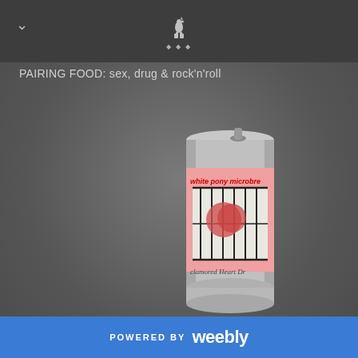PAIRING FOOD: sex, drug & rock'n'roll
[Figure (photo): A beer/beverage can with a pink label showing an image of a heart or organ in a cage, with red handwritten text reading 'white pony microbrewery' and cursive text below reading 'Clamored Heart Dr...']
POWERED BY weebly